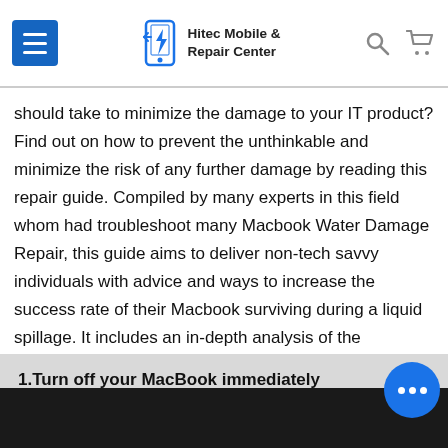Hitec Mobile & Repair Center
should take to minimize the damage to your IT product? Find out on how to prevent the unthinkable and minimize the risk of any further damage by reading this repair guide. Compiled by many experts in this field whom had troubleshoot many Macbook Water Damage Repair, this guide aims to deliver non-tech savvy individuals with advice and ways to increase the success rate of their Macbook surviving during a liquid spillage. It includes an in-depth analysis of the Macbook design and best approach to take for different model.
1.Turn off your MacBook immediately